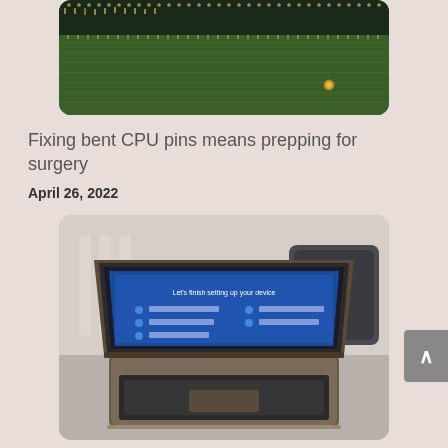[Figure (photo): Close-up photograph of a CPU chip showing bent pins on a circuit board, viewed from an angle showing the pin grid array]
Fixing bent CPU pins means prepping for surgery
April 26, 2022
[Figure (photo): Photograph of a laptop computer (appears to be a Dell) open on a carpeted floor, showing a blue Windows setup/configuration screen on the display]